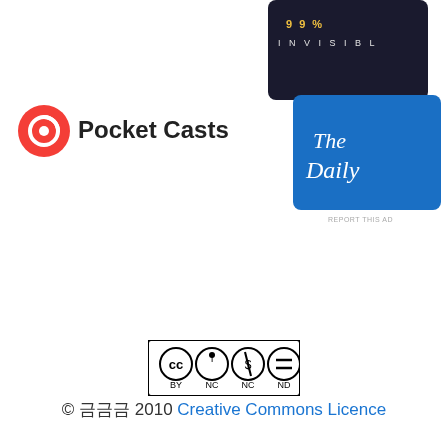[Figure (screenshot): Top-right corner showing podcast app thumbnails including '99% Invisible' (dark card with yellow text) and 'The Daily' (blue card) advertisements]
[Figure (logo): Pocket Casts logo - red circular icon with stylized cast waves and 'Pocket Casts' text in dark bold letters]
[Figure (other): Creative Commons license badge showing CC BY NC ND icons in a black bordered rectangle]
© 돌이 2010 Creative Commons Licence
December 30, 2010
2 Replies
Advertisements
[Figure (screenshot): WordPress hosting advertisement banner with dark navy background, P icon, text 'WORDPRESS HOSTING THAT MEANS BUSINESS.' and an open sign photo on right]